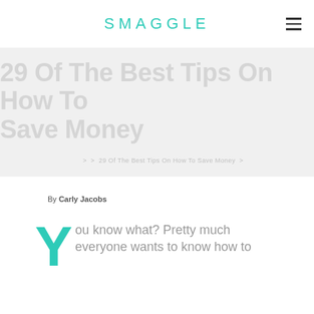SMAGGLE
29 Of The Best Tips On How To Save Money
29 Of The Best Tips On How To Save Money
By Carly Jacobs
You know what? Pretty much everyone wants to know how to